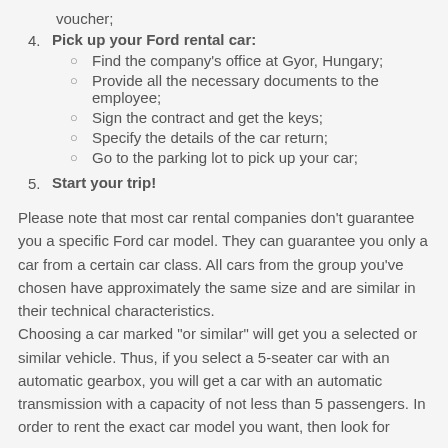voucher;
Pick up your Ford rental car:
- Find the company's office at Gyor, Hungary;
- Provide all the necessary documents to the employee;
- Sign the contract and get the keys;
- Specify the details of the car return;
- Go to the parking lot to pick up your car;
Start your trip!
Please note that most car rental companies don't guarantee you a specific Ford car model. They can guarantee you only a car from a certain car class. All cars from the group you've chosen have approximately the same size and are similar in their technical characteristics.
Choosing a car marked "or similar" will get you a selected or similar vehicle. Thus, if you select a 5-seater car with an automatic gearbox, you will get a car with an automatic transmission with a capacity of not less than 5 passengers. In order to rent the exact car model you want, then look for